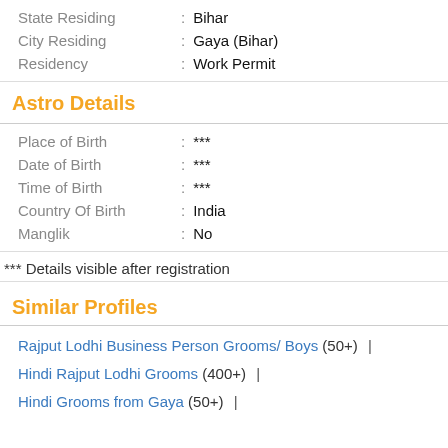State Residing : Bihar
City Residing : Gaya (Bihar)
Residency : Work Permit
Astro Details
Place of Birth : ***
Date of Birth : ***
Time of Birth : ***
Country Of Birth : India
Manglik : No
*** Details visible after registration
Similar Profiles
Rajput Lodhi Business Person Grooms/ Boys (50+) |
Hindi Rajput Lodhi Grooms (400+) |
Hindi Grooms from Gaya (50+) |